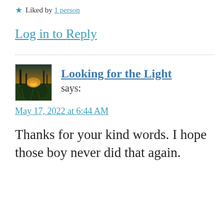★ Liked by 1 person
Log in to Reply
[Figure (photo): Avatar image of commenter 'Looking for the Light' — a nature/forest scene with sunlight through trees]
Looking for the Light says:
May 17, 2022 at 6:44 AM
Thanks for your kind words. I hope those boy never did that again.